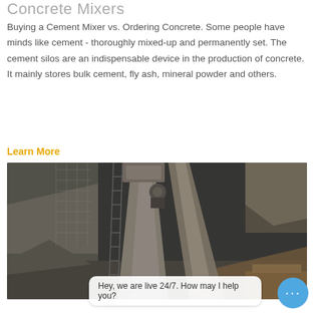Concrete Mixers
Buying a Cement Mixer vs. Ordering Concrete. Some people have minds like cement - thoroughly mixed-up and permanently set. The cement silos are an indispensable device in the production of concrete. It mainly stores bulk cement, fly ash, mineral powder and others.
Learn More
[Figure (photo): Industrial concrete mixer or cement silo equipment at a construction site, showing a large elevated conveyor or mixer structure with ladder, surrounded by aggregate materials and construction debris.]
Hey, we are live 24/7. How may I help you?